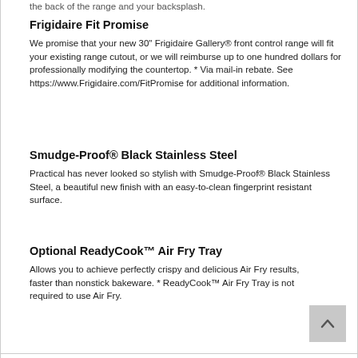the back of the range and your backsplash.
Frigidaire Fit Promise
We promise that your new 30" Frigidaire Gallery® front control range will fit your existing range cutout, or we will reimburse up to one hundred dollars for professionally modifying the countertop. * Via mail-in rebate. See https://www.Frigidaire.com/FitPromise for additional information.
Smudge-Proof® Black Stainless Steel
Practical has never looked so stylish with Smudge-Proof® Black Stainless Steel, a beautiful new finish with an easy-to-clean fingerprint resistant surface.
Optional ReadyCook™ Air Fry Tray
Allows you to achieve perfectly crispy and delicious Air Fry results, faster than nonstick bakeware. * ReadyCook™ Air Fry Tray is not required to use Air Fry.